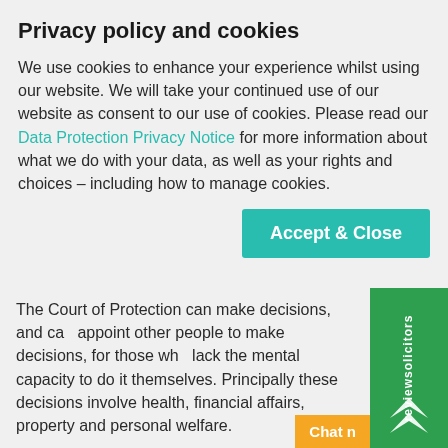Privacy policy and cookies
We use cookies to enhance your experience whilst using our website. We will take your continued use of our website as consent to our use of cookies. Please read our Data Protection Privacy Notice for more information about what we do with your data, as well as your rights and choices – including how to manage cookies.
Accept & Close
The Court of Protection can make decisions, and can appoint other people to make decisions, for those who lack the mental capacity to do it themselves. Principally these decisions involve health, financial affairs, property and personal welfare.
Our specialist Court of Protection Solicitors are able to advise and represent our clients through every step of the Court of Protection process, ensuring
[Figure (other): reviewsolicitors vertical side widget in green]
Chat n